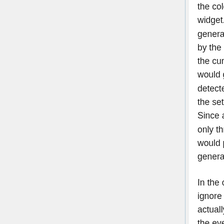the color selector, and then again by a consuming widget. It turned out that the color selector would generate a change event that would be picked up by the paint selector. That would modify the style on the current element. In turn, that style modification would generate change events itself which would be detected by the paint selector. That, in turn, would the set the color in the color selector to a new value. Since all RGB components are float, but the style is only three 8-bit integer values, non-visible changes would propogate and double the events being generated.
In the case of the color selector, a simple fix was to ignore change events on the styles that did not actually result in any meaningful changes (ignore the event if the new RGBA 8-bit-each value would